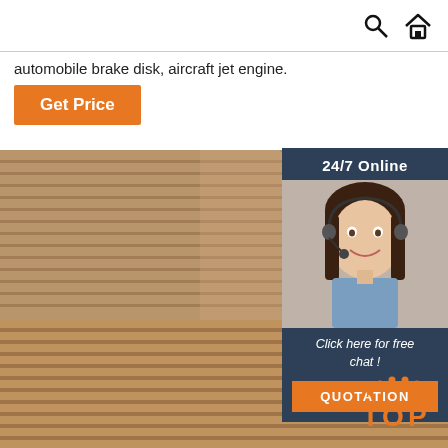[search icon] [home icon]
automobile brake disk, aircraft jet engine.
Get Price
[Figure (photo): Stacked plywood sheets viewed from the corner, showing layered wood grain texture, warm brown tones]
[Figure (infographic): 24/7 Online chat widget with dark teal background. Shows a smiling female customer service agent with headset. Text reads: Click here for free chat! QUOTATION button in orange.]
[Figure (logo): TOP logo in orange with small dots arranged in an arc above the text]